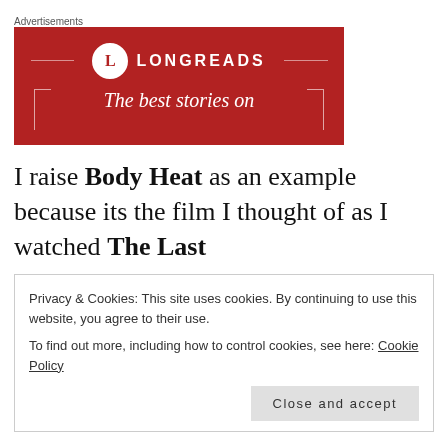Advertisements
[Figure (logo): Longreads advertisement banner with red background, circle-L logo, 'LONGREADS' text, and tagline 'The best stories on']
I raise Body Heat as an example because its the film I thought of as I watched The Last
Privacy & Cookies: This site uses cookies. By continuing to use this website, you agree to their use.
To find out more, including how to control cookies, see here: Cookie Policy
Close and accept